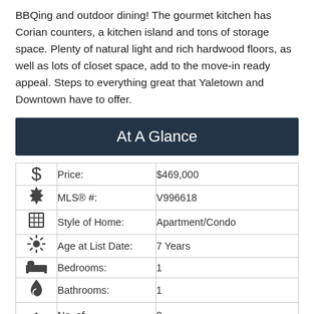BBQing and outdoor dining! The gourmet kitchen has Corian counters, a kitchen island and tons of storage space. Plenty of natural light and rich hardwood floors, as well as lots of closet space, add to the move-in ready appeal. Steps to everything great that Yaletown and Downtown have to offer.
At A Glance
| Icon | Label | Value |
| --- | --- | --- |
| $ | Price: | $469,000 |
| ✳ | MLS® #: | V996618 |
| ▦ | Style of Home: | Apartment/Condo |
| ⚙ | Age at List Date: | 7 Years |
| 🛏 | Bedrooms: | 1 |
| 💧 | Bathrooms: | 1 |
| 💧 | No. of | 0 |